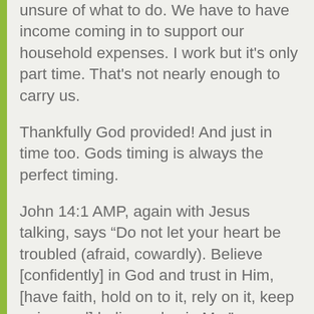unsure of what to do. We have to have income coming in to support our household expenses. I work but it's only part time. That's not nearly enough to carry us.
Thankfully God provided! And just in time too. Gods timing is always the perfect timing.
John 14:1 AMP, again with Jesus talking, says “Do not let your heart be troubled (afraid, cowardly). Believe [confidently] in God and trust in Him, [have faith, hold on to it, rely on it, keep going and] believe also in Me.”